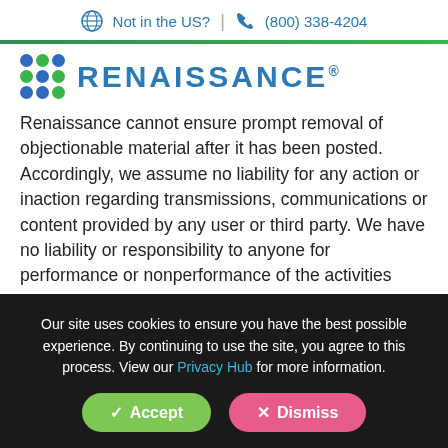Not in the US? | (800) 338-4204
[Figure (logo): Renaissance logo with dot grid and blue wordmark]
Renaissance cannot ensure prompt removal of objectionable material after it has been posted. Accordingly, we assume no liability for any action or inaction regarding transmissions, communications or content provided by any user or third party. We have no liability or responsibility to anyone for performance or nonperformance of the activities described in this section.
Notwithstanding the foregoing, Renaissance has the
Our site uses cookies to ensure you have the best possible experience. By continuing to use the site, you agree to this process. View our Privacy Hub for more information.